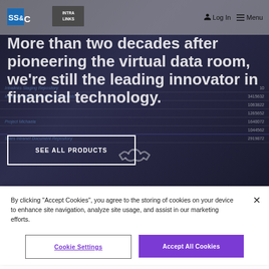[Figure (screenshot): SS&C Intralinks website hero section with navigation bar showing SS&C logo and Intralinks logo, Log In and Menu options. Dark background with document repository UI visible. Large white heading text and 'SEE ALL PRODUCTS' button with white border. Handshake icon at bottom.]
More than two decades after pioneering the virtual data room, we're still the leading innovator in financial technology.
SEE ALL PRODUCTS
By clicking “Accept Cookies”, you agree to the storing of cookies on your device to enhance site navigation, analyze site usage, and assist in our marketing efforts.
Cookie Settings
Accept All Cookies